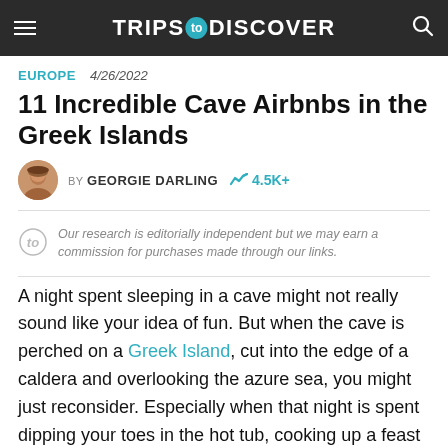TRIPS TO DISCOVER
EUROPE  4/26/2022
11 Incredible Cave Airbnbs in the Greek Islands
BY GEORGIE DARLING  4.5K+
Our research is editorially independent but we may earn a commission for purchases made through our links.
A night spent sleeping in a cave might not really sound like your idea of fun. But when the cave is perched on a Greek Island, cut into the edge of a caldera and overlooking the azure sea, you might just reconsider. Especially when that night is spent dipping your toes in the hot tub, cooking up a feast on a BBQ or dreamily gazing at the stunning views all around. The Greek